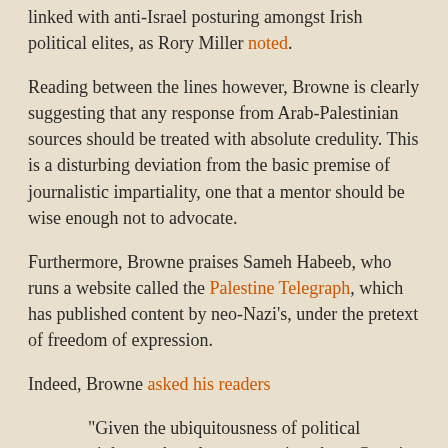linked with anti-Israel posturing amongst Irish political elites, as Rory Miller noted.
Reading between the lines however, Browne is clearly suggesting that any response from Arab-Palestinian sources should be treated with absolute credulity. This is a disturbing deviation from the basic premise of journalistic impartiality, one that a mentor should be wise enough not to advocate.
Furthermore, Browne praises Sameh Habeeb, who runs a website called the Palestine Telegraph, which has published content by neo-Nazi's, under the pretext of freedom of expression.
Indeed, Browne asked his readers
"Given the ubiquitousness of political violence, the relevant question about Gaza is not “how dare they fire those rockets?”. We should ask, instead, what decent or fearful or otherwise-restraining impulse causes Palestinians to use violence as little as they do?"